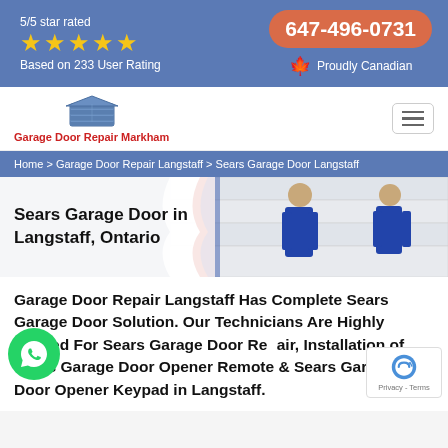5/5 star rated ★★★★★ Based on 233 User Rating | 647-496-0731 | Proudly Canadian
[Figure (logo): Garage Door Repair Markham logo with garage door icon and red text]
Home > Garage Door Repair Langstaff > Sears Garage Door Langstaff
Sears Garage Door in Langstaff, Ontario
[Figure (photo): Two technicians in blue overalls working on a white sectional garage door]
Garage Door Repair Langstaff Has Complete Sears Garage Door Solution. Our Technicians Are Highly Trained For Sears Garage Door Repair, Installation of Sears Garage Door Opener Remote & Sears Garage Door Opener Keypad in Langstaff.